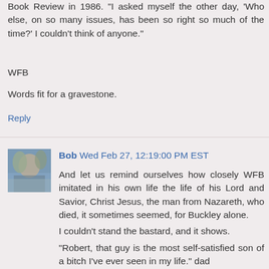Book Review in 1986. "I asked myself the other day, 'Who else, on so many issues, has been so right so much of the time?' I couldn't think of anyone."
WFB
Words fit for a gravestone.
Reply
Bob  Wed Feb 27, 12:19:00 PM EST
And let us remind ourselves how closely WFB imitated in his own life the life of his Lord and Savior, Christ Jesus, the man from Nazareth, who died, it sometimes seemed, for Buckley alone.
I couldn't stand the bastard, and it shows.
"Robert, that guy is the most self-satisfied son of a bitch I've ever seen in my life." dad
Reply